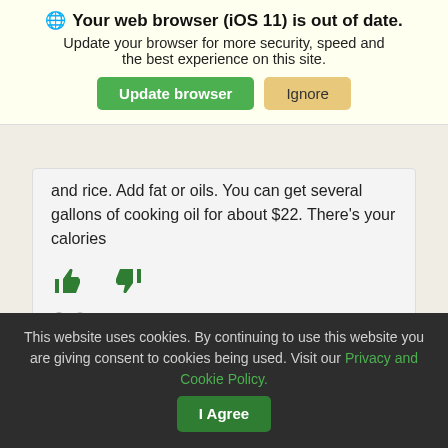🌐 Your web browser (iOS 11) is out of date. Update your browser for more security, speed and the best experience on this site. [Update browser] [Ignore]
and rice. Add fat or oils. You can get several gallons of cooking oil for about $22. There's your calories
Reply
Nyms  5 years ago
Really...!! In the town I left in Calif. there was an
This website uses cookies. By continuing to use this website you are giving consent to cookies being used. Visit our Privacy and Cookie Policy. [I Agree]